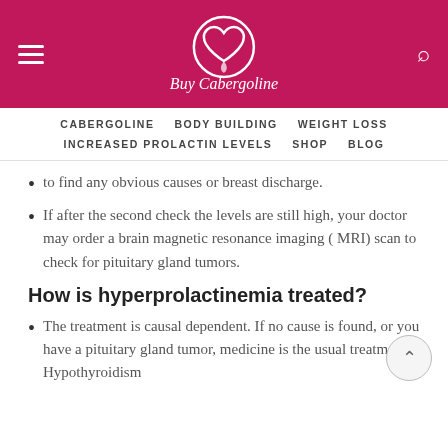Buy Cabergoline
CABERGOLINE   BODY BUILDING   WEIGHT LOSS   INCREASED PROLACTIN LEVELS   SHOP   BLOG
to find any obvious causes or breast discharge.
If after the second check the levels are still high, your doctor may order a brain magnetic resonance imaging ( MRI) scan to check for pituitary gland tumors.
How is hyperprolactinemia treated?
The treatment is causal dependent. If no cause is found, or you have a pituitary gland tumor, medicine is the usual treatment. Hypothyroidism